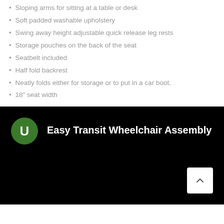Sloping arms for sitting at a table or desk
Soft padded washable upholstery
Swing away height adjustable quick release leg rests
Storage pouches on the back of the seat
Seatbelt included
Half fold backrest
Neatly folds either for storage or to put in a car boot.
18" seat width
[Figure (screenshot): Black video player thumbnail with green avatar circle showing letter U and title 'Easy Transit Wheelchair Assembly', with a white scroll-up button in bottom right corner]